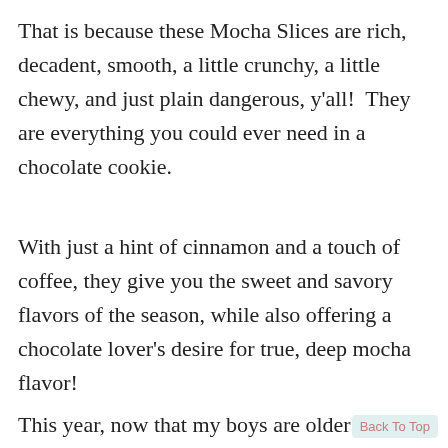That is because these Mocha Slices are rich, decadent, smooth, a little crunchy, a little chewy, and just plain dangerous, y'all!  They are everything you could ever need in a chocolate cookie.
With just a hint of cinnamon and a touch of coffee, they give you the sweet and savory flavors of the season, while also offering a chocolate lover's desire for true, deep mocha flavor!
This year, now that my boys are older and my